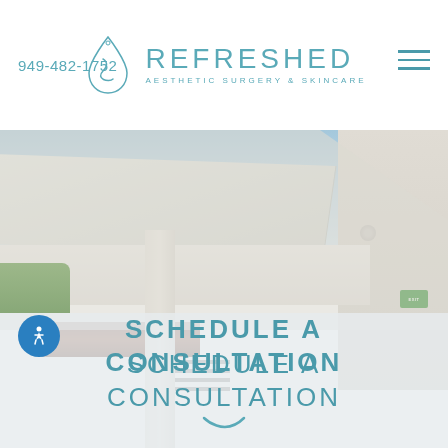949-482-1752
[Figure (logo): Refreshed Aesthetic Surgery & Skincare logo with drop/face icon and teal text]
[Figure (photo): Exterior photo of a modern medical building with white ceiling panels, wood beam, pillar, exit sign, and blue sky background]
SCHEDULE A CONSULTATION